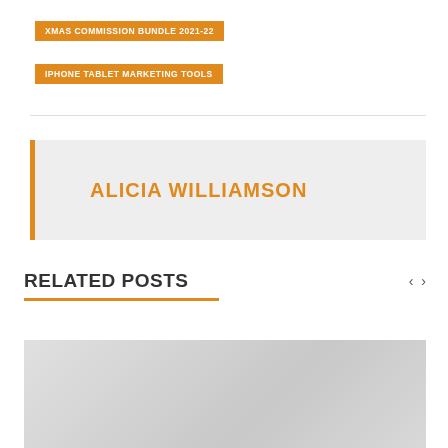XMAS COMMISSION BUNDLE 2021-22
IPHONE TABLET MARKETING TOOLS
ALICIA WILLIAMSON
RELATED POSTS
[Figure (photo): Partial image of a related post, showing a gray gradient placeholder image at the bottom of the page.]